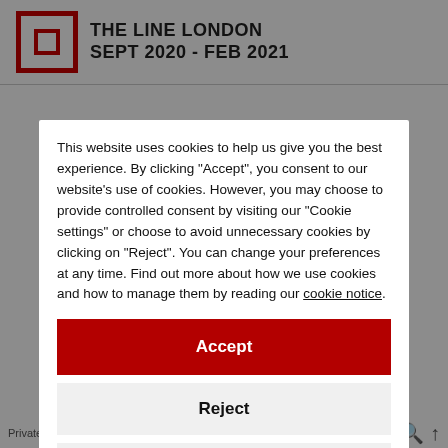THE LINE LONDON SEPT 2020 - FEB 2021
This website uses cookies to help us give you the best experience. By clicking "Accept", you consent to our website's use of cookies. However, you may choose to provide controlled consent by visiting our "Cookie settings" or choose to avoid unnecessary cookies by clicking on "Reject". You can change your preferences at any time. Find out more about how we use cookies and how to manage them by reading our cookie notice.
Accept
Reject
Cookie settings
Private policy | Cookie settings